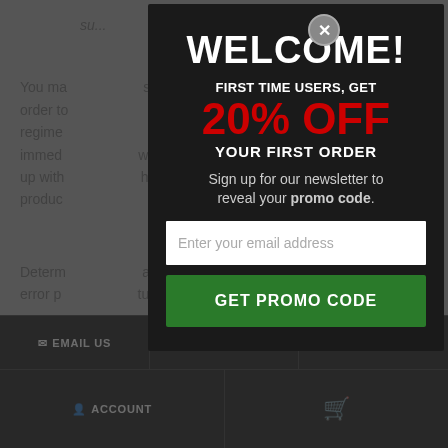su... You ma... in order to... regime... immed... owing up with... hose produc... Determ... and error p... tural
WELCOME!
FIRST TIME USERS, GET
20% OFF
YOUR FIRST ORDER
Sign up for our newsletter to reveal your promo code.
Enter your email address
GET PROMO CODE
✉ EMAIL US   ☎ CALL US   🔒 PRIVACY
👤 ACCOUNT   🛒